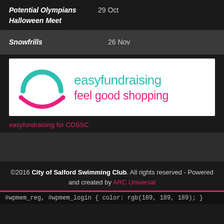Potential Olympians Halloween Meet   29 Oct
Snowfrills   26 Nov
[Figure (logo): easyfundraising logo — feel good shopping, with teal arc/circle and pink smile]
easyfundraising for COSSC
©2016 City of Salford Swimming Club. All rights reserved - Powered and created by ARC Universal
#wpmem_reg, #wpmem_login { color: rgb(189, 189, 189); }